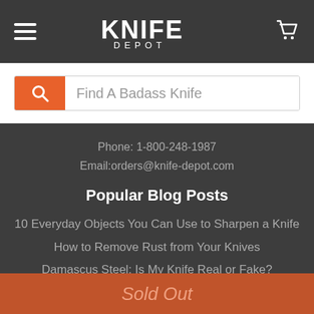Knife Depot — navigation header with menu and cart icons
Find A Badass Knife
Phone: 1-800-248-1987
Email:orders@knife-depot.com
Popular Blog Posts
10 Everyday Objects You Can Use to Sharpen a Knife
How to Remove Rust from Your Knives
Damascus Steel: Is My Knife Real or Fake?
Top 5 First Knives to Give Someone
Guides
How to Throw a Knife for Beginners
101 Uses for the Pocket Knife
The Ultimate Old Timer Knife Guide
Sold Out